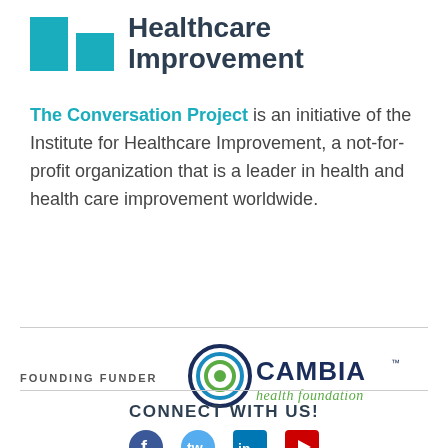[Figure (logo): Institute for Healthcare Improvement logo with two teal rectangles and bold dark text reading 'Healthcare Improvement']
The Conversation Project is an initiative of the Institute for Healthcare Improvement, a not-for-profit organization that is a leader in health and health care improvement worldwide.
FOUNDING FUNDER
[Figure (logo): Cambia Health Foundation logo with concentric circles icon and text 'CAMBIA health foundation']
CONNECT WITH US!